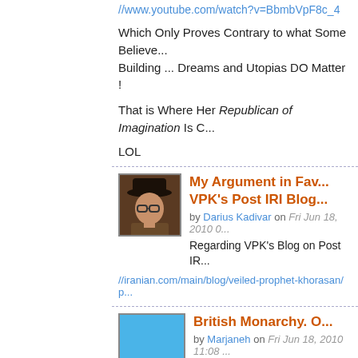//www.youtube.com/watch?v=BbmbVpF8c_4
Which Only Proves Contrary to what Some Believe... Building ... Dreams and Utopias DO Matter !
That is Where Her Republican of Imagination Is C...
LOL
My Argument in Fav... VPK's Post IRI Blog...
by Darius Kadivar on Fri Jun 18, 2010 0...
Regarding VPK's Blog on Post IR...
//iranian.com/main/blog/veiled-prophet-khorasan/p...
British Monarchy. O...
by Marjaneh on Fri Jun 18, 2010 11:08 ...
Britain, a "constitutional" monar... (except for the unelected House o...